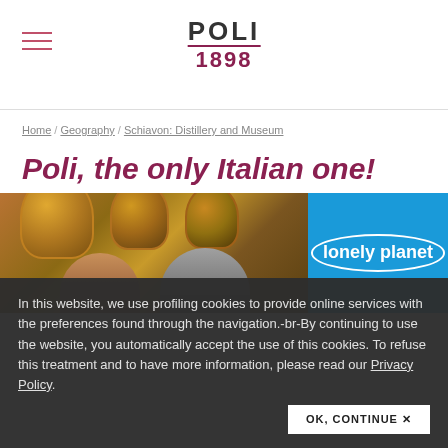POLI 1898
Home / Geography / Schiavon: Distillery and Museum
Poli, the only Italian one!
[Figure (photo): Photo of copper distillery stills with two people in foreground; beside it a blue Lonely Planet logo panel]
In this website, we use profiling cookies to provide online services with the preferences found through the navigation.-br-By continuing to use the website, you automatically accept the use of this cookies. To refuse this treatment and to have more information, please read our Privacy Policy.